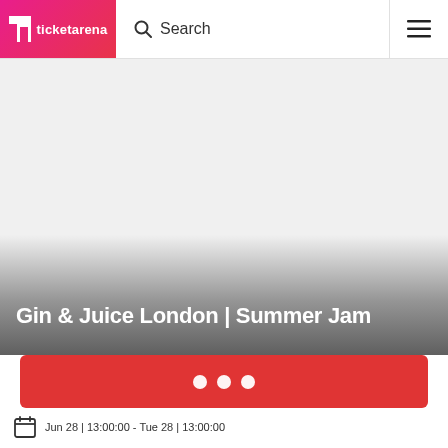[Figure (logo): Ticketarena logo with white T icon and text 'ticketarena' on red/pink gradient background]
Search
[Figure (other): Hamburger menu icon (three horizontal lines)]
[Figure (photo): Hero image area - light gray placeholder background for event image]
Gin & Juice London | Summer Jam
[Figure (other): Red CTA button with three white dots (loading indicator)]
Jun 28 | 13:00:00 - Tue 28 | 13:00:00